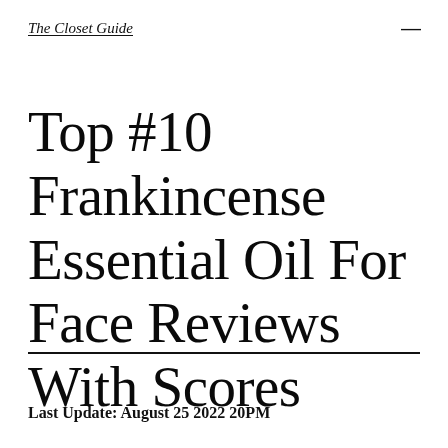The Closet Guide
Top #10 Frankincense Essential Oil For Face Reviews With Scores
Last Update: August 25 2022 20PM